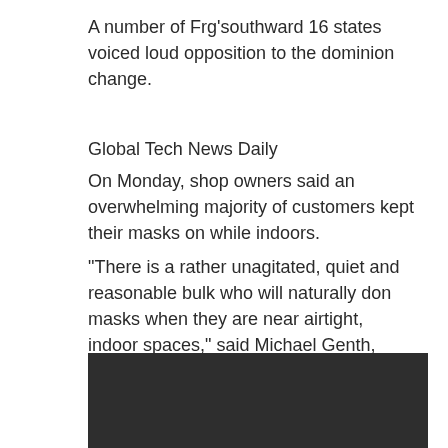A number of Frg'southward 16 states voiced loud opposition to the dominion change.
Global Tech News Daily
On Monday, shop owners said an overwhelming majority of customers kept their masks on while indoors.
“There is a rather unagitated, quiet and reasonable bulk who will naturally don masks when they are near airtight, indoor spaces,” said Michael Genth, chairman of the Saarbrücken Trade and Commerce Clan. “We presume customers will act responsibly and continue to wear masks while shopping indoors.”
[Figure (photo): Dark/black rectangular image placeholder at bottom of page]